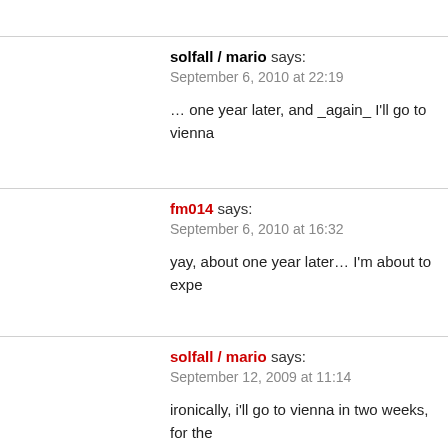solfall / mario says:
September 6, 2010 at 22:19
… one year later, and _again_ I'll go to vienna
fm014 says:
September 6, 2010 at 16:32
yay, about one year later… I'm about to expe
solfall / mario says:
September 12, 2009 at 11:14
ironically, i'll go to vienna in two weeks, for the